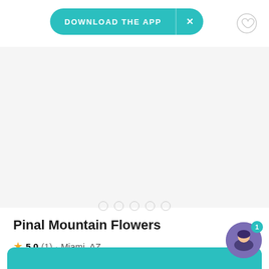[Figure (screenshot): Download the App button — teal pill-shaped button with 'DOWNLOAD THE APP' text and an X close button]
[Figure (photo): Image carousel area (empty/loading) with 5 pagination dots below]
Pinal Mountain Flowers
5.0 (1) · Miami, AZ
We provide unique designs to make your special day memorable. This is a family owned wedding business for 5 years with… Read more